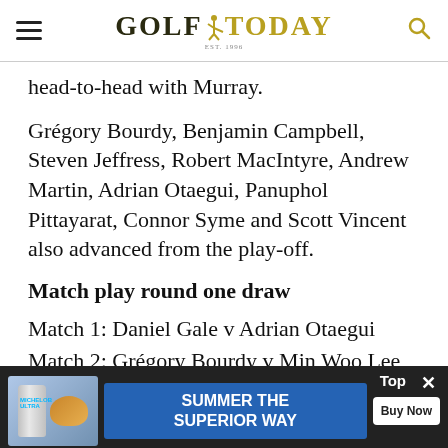GOLF TODAY
head-to-head with Murray.
Grégory Bourdy, Benjamin Campbell, Steven Jeffress, Robert MacIntyre, Andrew Martin, Adrian Otaegui, Panuphol Pittayarat, Connor Syme and Scott Vincent also advanced from the play-off.
Match play round one draw
Match 1: Daniel Gale v Adrian Otaegui
Match 2: Grégory Bourdy v Min Woo Lee
Match 3: [partially obscured] v [partially obscured]
Match 4: [partially obscured]